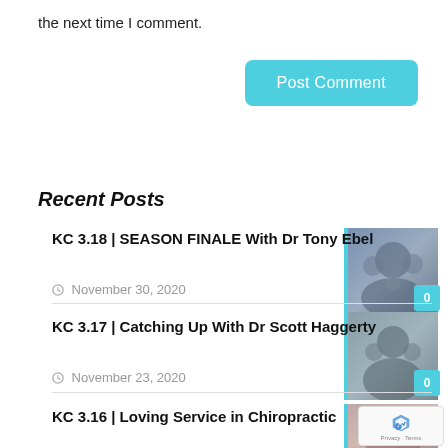the next time I comment.
Post Comment
Recent Posts
KC 3.18 | SEASON FINALE With Dr Tony Ebel
November 30, 2020
KC 3.17 | Catching Up With Dr Scott Haggerty
November 23, 2020
KC 3.16 | Loving Service in Chiropractic